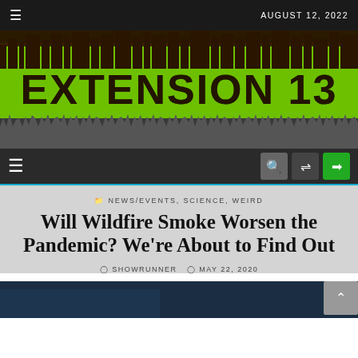AUGUST 12, 2022
[Figure (logo): Extension 13 website banner logo with green cityscape silhouette and grunge text on dark background]
Navigation bar with hamburger menu, search, shuffle, and login icons
NEWS/EVENTS, SCIENCE, WEIRD
Will Wildfire Smoke Worsen the Pandemic? We're About to Find Out
SHOWRUNNER   MAY 22, 2020
[Figure (photo): Dark blue image at bottom of page, partially visible]